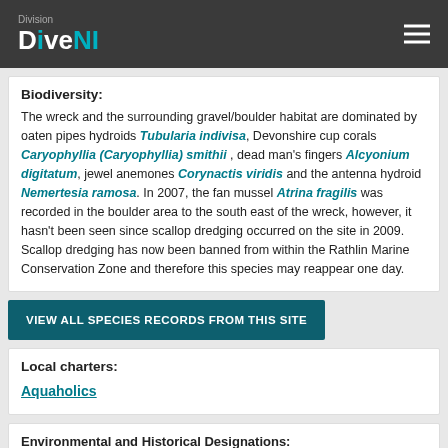Division DiveNI
Biodiversity:
The wreck and the surrounding gravel/boulder habitat are dominated by oaten pipes hydroids Tubularia indivisa, Devonshire cup corals Caryophyllia (Caryophyllia) smithii , dead man's fingers Alcyonium digitatum, jewel anemones Corynactis viridis and the antenna hydroid Nemertesia ramosa. In 2007, the fan mussel Atrina fragilis was recorded in the boulder area to the south east of the wreck, however, it hasn't been seen since scallop dredging occurred on the site in 2009. Scallop dredging has now been banned from within the Rathlin Marine Conservation Zone and therefore this species may reappear one day.
VIEW ALL SPECIES RECORDS FROM THIS SITE
Local charters:
Aquaholics
Environmental and Historical Designations:
Rathlin MCZ